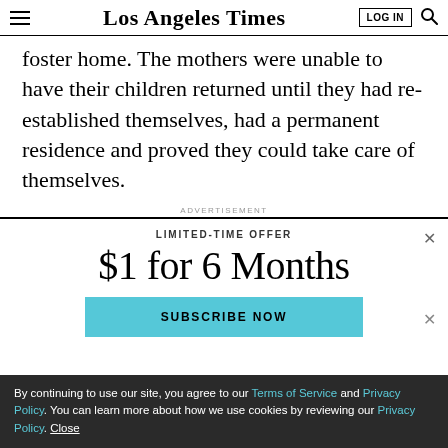Los Angeles Times
foster home. The mothers were unable to have their children returned until they had re-established themselves, had a permanent residence and proved they could take care of themselves.
ADVERTISEMENT
LIMITED-TIME OFFER
$1 for 6 Months
SUBSCRIBE NOW
By continuing to use our site, you agree to our Terms of Service and Privacy Policy. You can learn more about how we use cookies by reviewing our Privacy Policy. Close